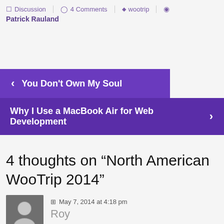Discussion   4 Comments   wootrip   Patrick Rauland
‹ You Don't Own My Soul
Why I Use a MacBook Air for Web Development ›
4 thoughts on “North American WooTrip 2014”
May 7, 2014 at 4:18 pm
Roy